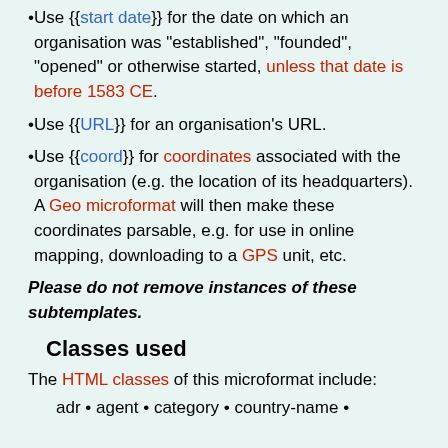Use {{start date}} for the date on which an organisation was "established", "founded", "opened" or otherwise started, unless that date is before 1583 CE.
Use {{URL}} for an organisation's URL.
Use {{coord}} for coordinates associated with the organisation (e.g. the location of its headquarters). A Geo microformat will then make these coordinates parsable, e.g. for use in online mapping, downloading to a GPS unit, etc.
Please do not remove instances of these subtemplates.
Classes used
The HTML classes of this microformat include:
adr • agent • category • country-name •